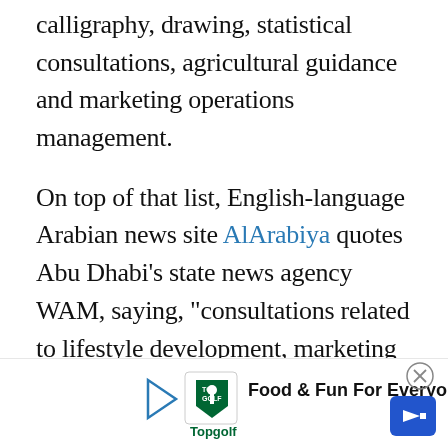calligraphy, drawing, statistical consultations, agricultural guidance and marketing operations management.
On top of that list, English-language Arabian news site AlArabiya quotes Abu Dhabi’s state news agency WAM, saying, “consultations related to lifestyle development, marketing studies, parliamentary studies, banking and marketing services in the fields of energy, space and logistical consultations, fitness, art works, sculpting, handicrafts, printing services, photocopying, gardening and landscaping, translation, textiles, clothes, plastics, p-
[Figure (other): Advertisement banner for Topgolf: 'Food & Fun For Everyone' with Topgolf logo and navigation arrow icon]